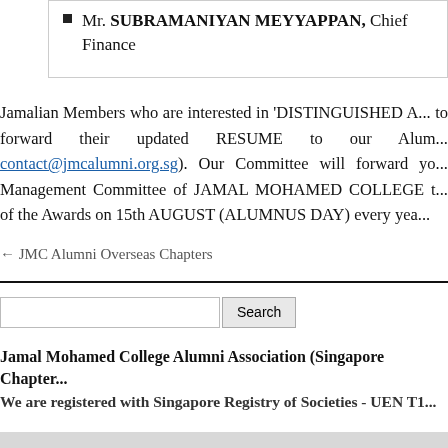Mr. SUBRAMANIYAN MEYYAPPAN, Chief Finance...
Jamalian Members who are interested in 'DISTINGUISHED A... to forward their updated RESUME to our Alum... contact@jmcalumni.org.sg). Our Committee will forward yo... Management Committee of JAMAL MOHAMED COLLEGE t... of the Awards on 15th AUGUST (ALUMNUS DAY) every yea...
← JMC Alumni Overseas Chapters
Jamal Mohamed College Alumni Association (Singapore Chapter)
We are registered with Singapore Registry of Societies - UEN T1...